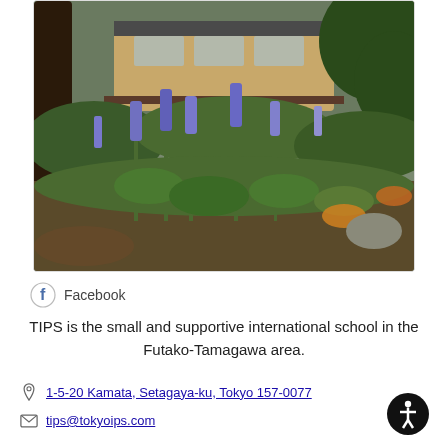[Figure (photo): Outdoor garden with purple flowering plants (salvia) in the foreground, lush green bushes and trees surrounding. A modern school building with light wood cladding and dark railings is visible in the background.]
Facebook
TIPS is the small and supportive international school in the Futako-Tamagawa area.
1-5-20 Kamata, Setagaya-ku, Tokyo 157-0077
tips@tokyoips.com